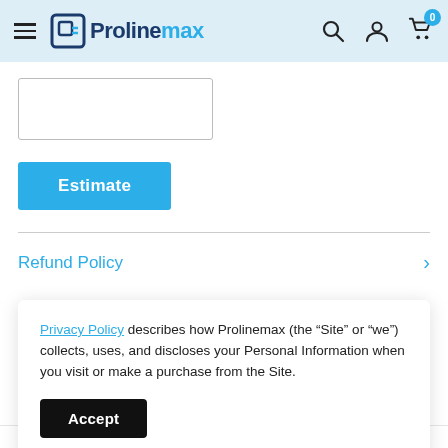[Figure (logo): Prolinemax logo with hamburger menu and header icons (search, account, cart with 0 badge) on light blue background]
[Figure (screenshot): Empty text input box (form field)]
[Figure (screenshot): Blue 'Estimate' button]
Refund Policy
Privacy Policy describes how Prolinemax (the “Site” or “we”) collects, uses, and discloses your Personal Information when you visit or make a purchase from the Site.
[Figure (screenshot): Black 'Accept' button for cookie/privacy banner]